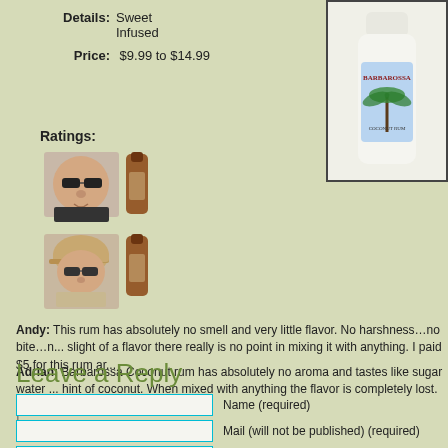Details: Sweet
Infused
Price: $9.99 to $14.99
Ratings:
[Figure (photo): Two reviewer photos each paired with a small bottle image, stacked vertically]
[Figure (photo): Barbarossa Coconut Rum bottle - white bottle with palm tree label]
Andy: This rum has absolutely no smell and very little flavor. No harshness…no bite…r... slight of a flavor there really is no point in mixing it with anything. I paid $5 for this rum ar...
Adrian: Barbarossa Coconut rum has absolutely no aroma and tastes like sugar water ... hint of coconut. When mixed with anything the flavor is completely lost. It's cheap for a re...
Leave a Reply
Name (required)
Mail (will not be published) (required)
Website